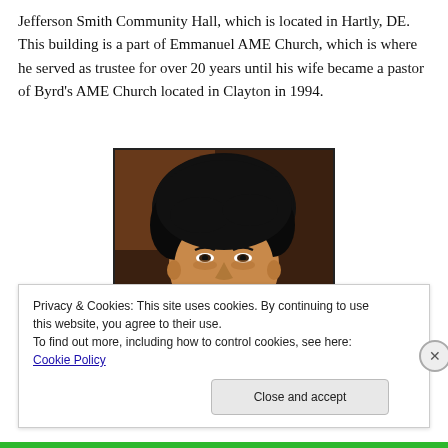Jefferson Smith Community Hall, which is located in Hartly, DE. This building is a part of Emmanuel AME Church, which is where he served as trustee for over 20 years until his wife became a pastor of Byrd's AME Church located in Clayton in 1994.
[Figure (photo): Portrait photo of a woman with short black hair, looking forward, with a brown background.]
Privacy & Cookies: This site uses cookies. By continuing to use this website, you agree to their use.
To find out more, including how to control cookies, see here: Cookie Policy